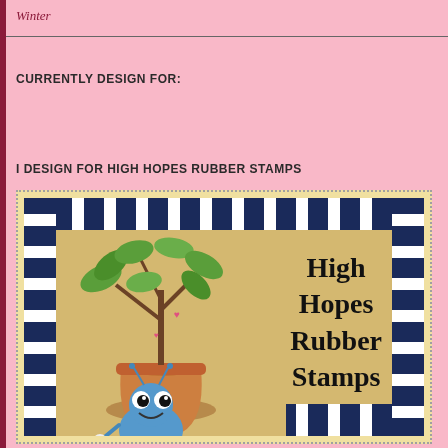Winter
CURRENTLY DESIGN FOR:
I DESIGN FOR HIGH HOPES RUBBER STAMPS
[Figure (illustration): High Hopes Rubber Stamps logo image showing a cartoon blue bug/ant next to a potted plant with green leaves, inside a decorative navy and white checkered border on a tan/yellow background. Text reads 'High Hopes Rubber Stamps'.]